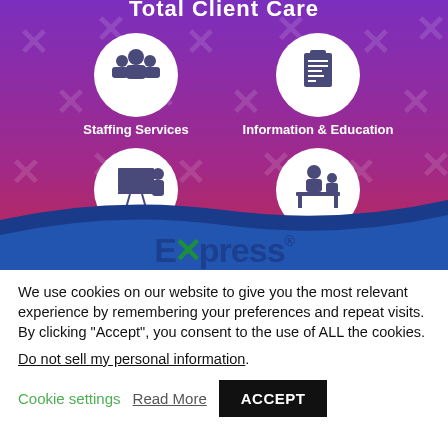[Figure (infographic): Express Total Client Care infographic on a purple-to-pink gradient background with repeating X-shaped watermark icons. Four circular white icon sections: Staffing Services (group of people icon), Information & Education (clipboard icon), Business Development (presenter at board icon), HR Support (person at desk icon). Bottom section shows a blue wave with the Express logo (blue text with green X).]
We use cookies on our website to give you the most relevant experience by remembering your preferences and repeat visits. By clicking "Accept", you consent to the use of ALL the cookies.
Do not sell my personal information.
Cookie settings   Read More   ACCEPT